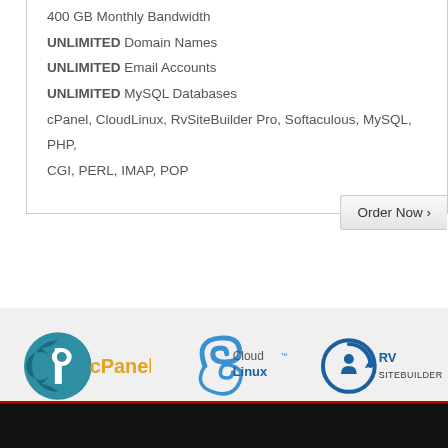400 GB Monthly Bandwidth
UNLIMITED Domain Names
UNLIMITED Email Accounts
UNLIMITED MySQL Databases
cPanel, CloudLinux, RvSiteBuilder Pro, Softaculous, MySQL, PHP, CGI, PERL, IMAP, POP
Order Now
[Figure (logo): cPanel logo - teal circle with C and P letters and orange cPanel text]
[Figure (logo): CloudLinux logo - blue swirl graphic with CloudLinux text]
[Figure (logo): RVSiteBuilder logo - blue circular arrow icon with SITEBUILDER text]